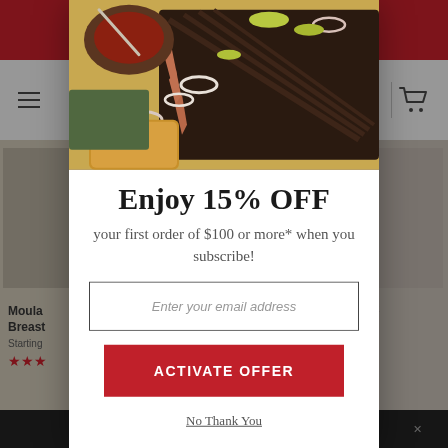[Figure (screenshot): Background website screenshot showing a BBQ/meat e-commerce site with navigation, product images, and dark bottom bar]
[Figure (photo): Food photo showing sliced BBQ brisket on a wooden cutting board with sauce bowl, onion rings, and pickled peppers]
Enjoy 15% OFF
your first order of $100 or more* when you subscribe!
Enter your email address
ACTIVATE OFFER
No Thank You